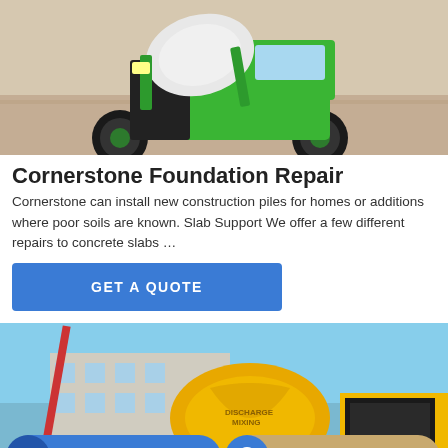[Figure (photo): Green self-loading concrete mixer truck on a concrete floor background]
Cornerstone Foundation Repair
Cornerstone can install new construction piles for homes or additions where poor soils are known. Slab Support We offer a few different repairs to concrete slabs …
GET A QUOTE
[Figure (photo): Yellow concrete mixer / batching plant machine with red crane arm and industrial building in background under blue sky]
Send Message
Inquiry Online